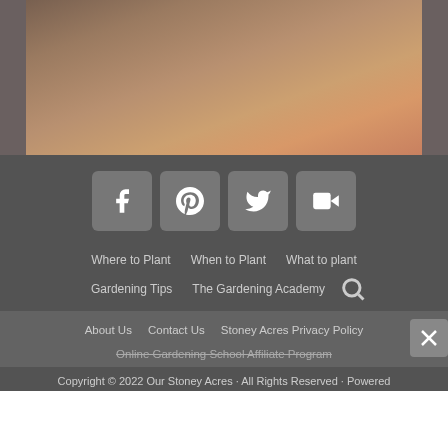[Figure (photo): Partial photo of a person, cropped, showing skin tones and background texture]
Facebook social icon
Pinterest social icon
Twitter social icon
YouTube social icon
Where to Plant
When to Plant
What to plant
Gardening Tips
The Gardening Academy
About Us   Contact Us   Stoney Acres Privacy Policy
Online Gardening School Affiliate Program
Copyright © 2022 Our Stoney Acres · All Rights Reserved · Powered